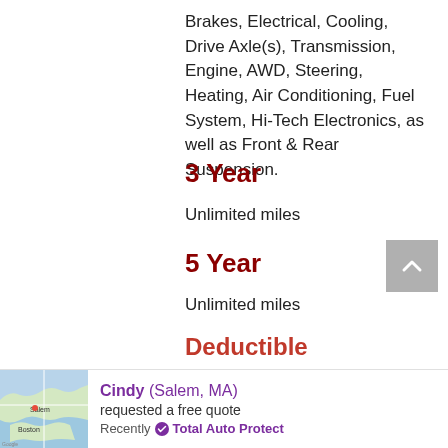Brakes, Electrical, Cooling, Drive Axle(s), Transmission, Engine, AWD, Steering, Heating, Air Conditioning, Fuel System, Hi-Tech Electronics, as well as Front & Rear Suspension.
3 Year
Unlimited miles
5 Year
Unlimited miles
Deductible
$0.00-$200.00
Cindy (Salem, MA) requested a free quote Recently Total Auto Protect